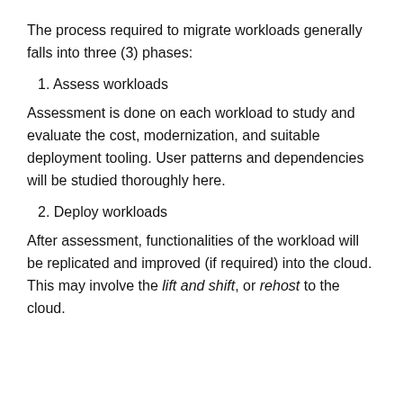The process required to migrate workloads generally falls into three (3) phases:
1. Assess workloads
Assessment is done on each workload to study and evaluate the cost, modernization, and suitable deployment tooling. User patterns and dependencies will be studied thoroughly here.
2. Deploy workloads
After assessment, functionalities of the workload will be replicated and improved (if required) into the cloud. This may involve the lift and shift, or rehost to the cloud.